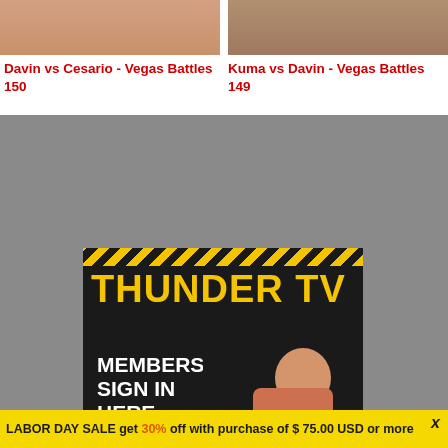[Figure (photo): Left thumbnail image showing wrestlers/fighters, cropped top portion]
[Figure (photo): Right thumbnail image showing wrestlers/fighters, cropped top portion]
Davin vs Cesario - Vegas Battles 150
Kuma vs Davin - Vegas Battles 149
[Figure (infographic): Thunder TV Members Sign In Here banner with hazard stripe, yellow THUNDER TV text, white MEMBERS SIGN IN HERE >> text, and wrestlers photo on dark background]
LABOR DAY SALE get 30% off with purchase of $ 75.00 USD or more